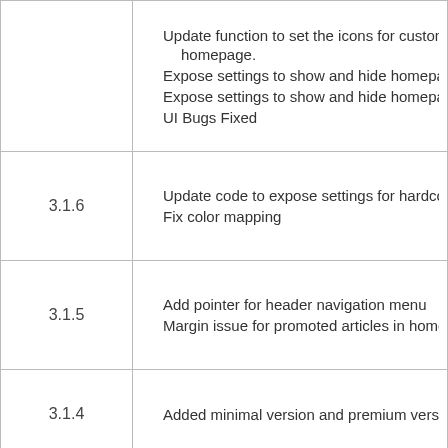| Version | Notes |
| --- | --- |
|  | Update function to set the icons for custom a... homepage.
Expose settings to show and hide homepage...
Expose settings to show and hide homepage...
UI Bugs Fixed |
| 3.1.6 | Update code to expose settings for hardcode...
Fix color mapping |
| 3.1.5 | Add pointer for header navigation menu
Margin issue for promoted articles in homepa... |
| 3.1.4 | Added minimal version and premium version... |
| 3.1.3 | Added user-manual |
|  |  |